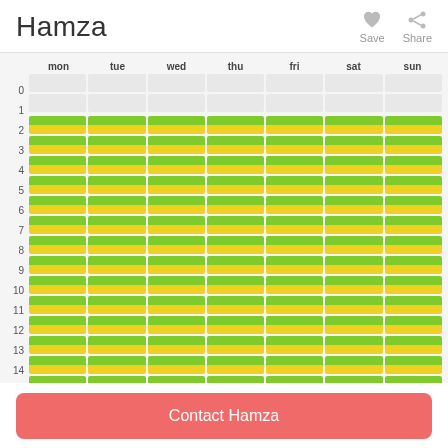Hamza
[Figure (infographic): Weekly availability grid for Hamza. Rows represent hours (0-15), columns represent days (mon-sun). Hour rows 0-1 are empty/unavailable (grey). Hours 2-15 show green and yellow split cells indicating availability across all seven days.]
Contact Hamza